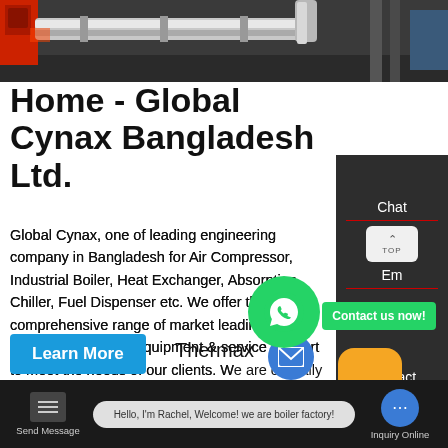[Figure (photo): Industrial boiler and pipe equipment photo showing metal pipes and fittings, with red boiler unit on the left and metal framework on the right]
Home - Global Cynax Bangladesh Ltd.
Global Cynax, one of leading engineering company in Bangladesh for Air Compressor, Industrial Boiler, Heat Exchanger, Absorption Chiller, Fuel Dispenser etc. We offer the most comprehensive range of market leading & cost effective renowned equipment & service support to meet the needs of our clients. We are officially authorized business channel partners of Atlas Copco, Thermax
Learn More
Thermax
Chat
Em
Contact
Contact us now!
Hello, I'm Rachel, Welcome! we are boiler factory!
Send Message
Inquiry Online